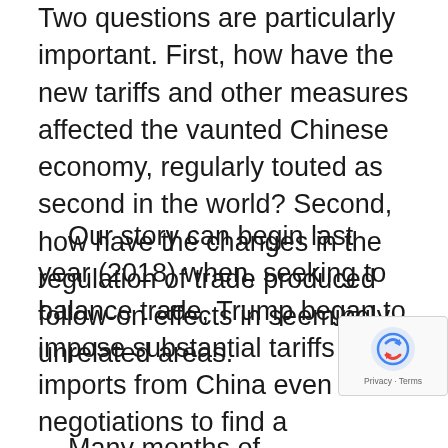Two questions are particularly important. First, how have the new tariffs and other measures affected the vaunted Chinese economy, regularly touted as second in the world? Second, how have the changes in the regulation of trade produced follow-on effects in seemingly unrelated areas.
Our story can begin last year (2018) when, seeking to balance trade, Trump began to impose substantial tariffs on imports from China even as negotiations to find a permanent solution got under way.
Many months of conscientious negotiation between American and Chinese experts. By early this year an agreed draft for a new economic agreement was near fruition.
Evidently the Chinese leadership had not
[Figure (other): Google reCAPTCHA badge overlay in bottom-right corner showing reCAPTCHA shield icon and 'Privacy - Terms' text]